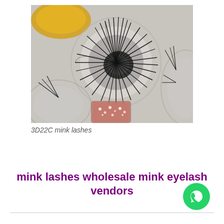[Figure (photo): Top-down view of 3D mink false eyelashes arranged in a circular display tray, with dramatic fluffy lashes fanning outward. Additional lash trays and decorative elements visible in the background.]
3D22C mink lashes
mink lashes wholesale mink eyelash vendors
[Figure (logo): WhatsApp green circular icon with white phone handset symbol]